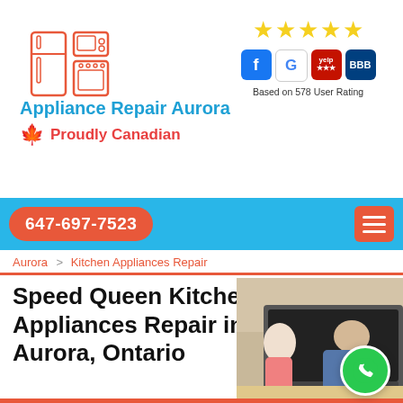[Figure (logo): Appliance repair icon showing refrigerator, microwave, oven, and washing machine in orange outline style]
[Figure (infographic): Five yellow stars rating with Facebook, Google, Yelp, and BBB badge icons below. Text: Based on 578 User Rating]
Appliance Repair Aurora
🍁 Proudly Canadian
647-697-7523
Aurora > Kitchen Appliances Repair
Speed Queen Kitchen Appliances Repair in Aurora, Ontario
[Figure (photo): A couple looking into and repairing an open oven in a kitchen]